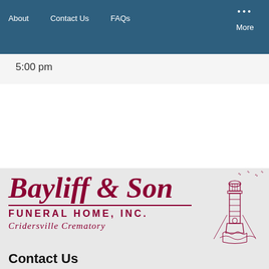About   Contact Us   FAQs   ...   More
5:00 pm
[Figure (logo): Bayliff & Son Funeral Home, Inc. Cridersville Crematory logo with lighthouse illustration]
Contact Us